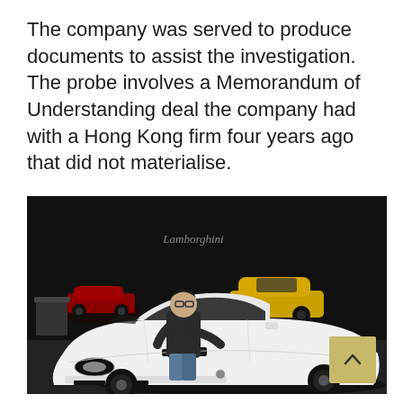The company was served to produce documents to assist the investigation. The probe involves a Memorandum of Understanding deal the company had with a Hong Kong firm four years ago that did not materialise.
[Figure (photo): A man in a black jacket leaning on a white Lamborghini Murcielago in a showroom. Behind him is a yellow Lamborghini Gallardo and a red sports car. The Lamborghini logo and script are visible on the dark wall. A tan-colored scroll-up button appears in the bottom right corner.]